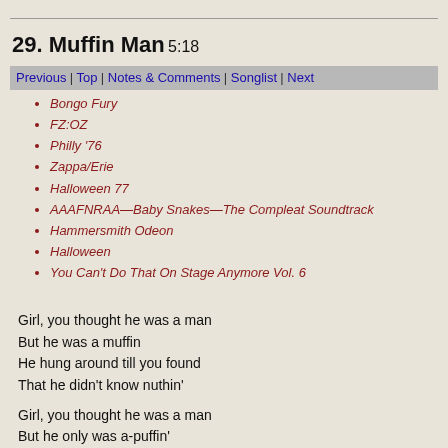29. Muffin Man 5:18
Previous | Top | Notes & Comments | Songlist | Next
Bongo Fury
FZ:OZ
Philly '76
Zappa/Erie
Halloween 77
AAAFNRAA—Baby Snakes—The Compleat Soundtrack
Hammersmith Odeon
Halloween
You Can't Do That On Stage Anymore Vol. 6
Girl, you thought he was a man
But he was a muffin
He hung around till you found
That he didn't know nuthin'
Girl, you thought he was a man
But he only was a-puffin'
No cries is heard in the night
As a result of him stuffin'
(All right!)